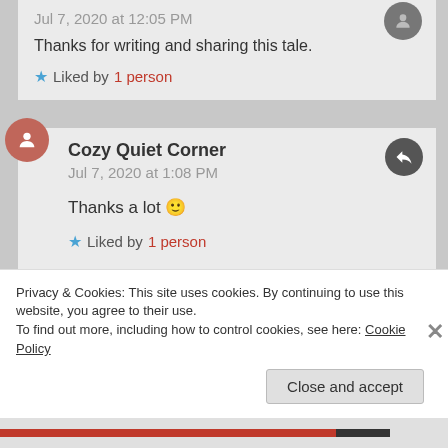Jul 7, 2020 at 12:05 PM
Thanks for writing and sharing this tale.
Liked by 1 person
Cozy Quiet Corner
Jul 7, 2020 at 1:08 PM
Thanks a lot 🙂
Liked by 1 person
Privacy & Cookies: This site uses cookies. By continuing to use this website, you agree to their use.
To find out more, including how to control cookies, see here: Cookie Policy
Close and accept